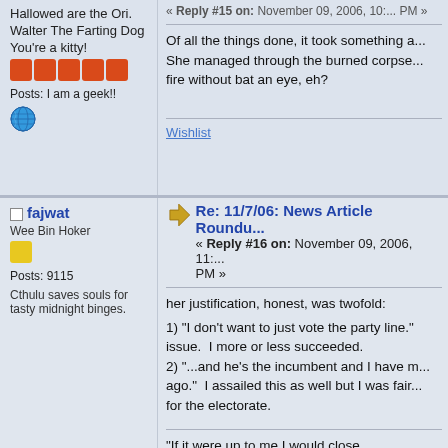Hallowed are the Ori.
Walter The Farting Dog
You're a kitty!
Posts: I am a geek!!
Of all the things done, it took something a... She managed through the burned corpse... fire without bat an eye, eh?
Wishlist
fajwat
Wee Bin Hoker
Posts: 9115
Cthulu saves souls for tasty midnight binges.
Re: 11/7/06: News Article Roundu...
« Reply #16 on: November 09, 2006, 11:... PM »
her justification, honest, was twofold:
1) "I don't want to just vote the party line." issue.  I more or less succeeded.
2) "...and he's the incumbent and I have m... ago."  I assailed this as well but I was fair... for the electorate.
"If it were up to me I would close GuantÃ¡namo n... shaken the belief that the world had in America's...